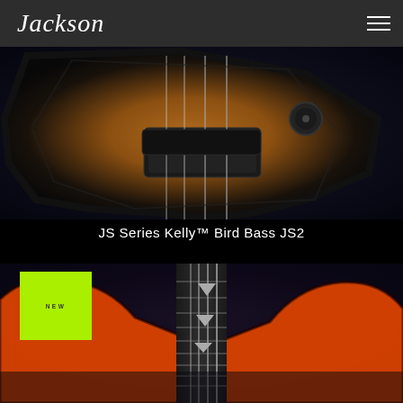Jackson
[Figure (photo): Close-up photo of a Jackson Kelly Bird Bass JS2 guitar body in tobacco sunburst finish against a dark background, showing the body shape, bridge, strings, and knobs.]
JS Series Kelly™ Bird Bass JS2
[Figure (photo): Photo of a Jackson bass guitar neck and body in cherry sunburst finish, showing the fretboard with shark fin inlays, strings, and body curves against a dark background. A green NEW badge overlay is visible in the upper left.]